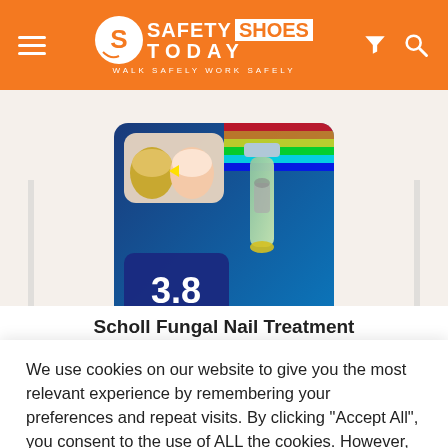SAFETY SHOES TODAY - WALK SAFELY WORK SAFELY
[Figure (photo): Product photo of Scholl Fungal Nail Treatment bottle showing 3.8 ml, with before/after toenail comparison image]
Scholl Fungal Nail Treatment
We use cookies on our website to give you the most relevant experience by remembering your preferences and repeat visits. By clicking "Accept All", you consent to the use of ALL the cookies. However, you may visit "Cookie Settings" to provide a controlled consent.
Cookie Settings | Accept All